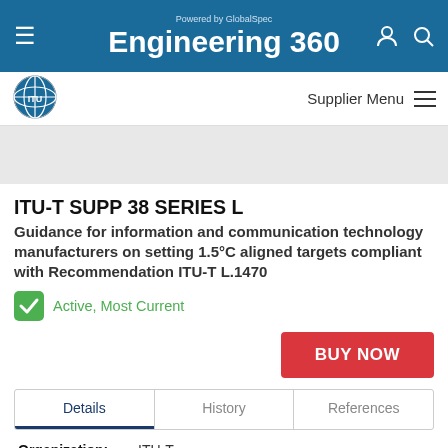Powered by GlobalSpec Engineering 360
[Figure (logo): ITU (International Telecommunication Union) globe logo]
Supplier Menu
ITU-T SUPP 38 SERIES L
Guidance for information and communication technology manufacturers on setting 1.5°C aligned targets compliant with Recommendation ITU-T L.1470
Active, Most Current
BUY NOW
Details	History	References
Organization:	ITU-T